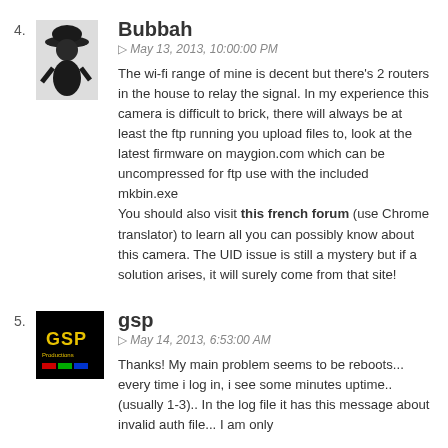4.
[Figure (photo): Avatar of user Bubbah, a dark silhouette of a person with a hat]
Bubbah
May 13, 2013, 10:00:00 PM
The wi-fi range of mine is decent but there's 2 routers in the house to relay the signal. In my experience this camera is difficult to brick, there will always be at least the ftp running you upload files to, look at the latest firmware on maygion.com which can be uncompressed for ftp use with the included mkbin.exe
You should also visit this french forum (use Chrome translator) to learn all you can possibly know about this camera. The UID issue is still a mystery but if a solution arises, it will surely come from that site!
5.
[Figure (logo): GSP Productions logo: black background with GSP text in yellow and colored bars in red, green, blue]
gsp
May 14, 2013, 6:53:00 AM
Thanks! My main problem seems to be reboots... every time i log in, i see some minutes uptime.. (usually 1-3).. In the log file it has this message about invalid auth file... I am only